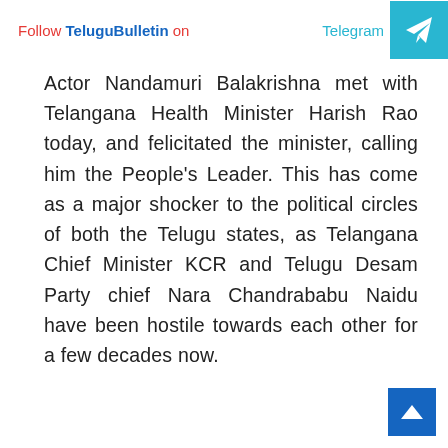Follow TeluguBulletin on Telegram
Actor Nandamuri Balakrishna met with Telangana Health Minister Harish Rao today, and felicitated the minister, calling him the People's Leader. This has come as a major shocker to the political circles of both the Telugu states, as Telangana Chief Minister KCR and Telugu Desam Party chief Nara Chandrababu Naidu have been hostile towards each other for a few decades now.